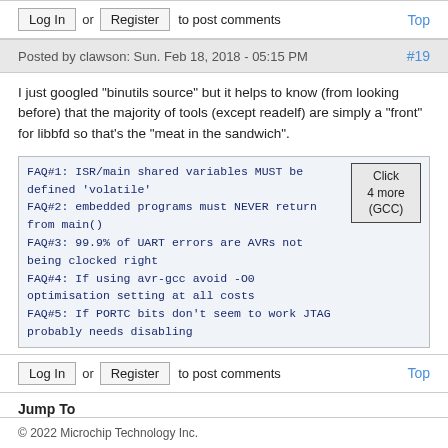Log In or Register to post comments   Top
Posted by clawson: Sun. Feb 18, 2018 - 05:15 PM   #19
I just googled "binutils source" but it helps to know (from looking before) that the majority of tools (except readelf) are simply a "front" for libbfd so that's the "meat in the sandwich".
[Figure (screenshot): FAQ list in monospace font inside a bordered box: FAQ#1: ISR/main shared variables MUST be defined 'volatile', FAQ#2: embedded programs must NEVER return from main(), FAQ#3: 99.9% of UART errors are AVRs not being clocked right, FAQ#4: If using avr-gcc avoid -O0 optimisation setting at all costs, FAQ#5: If PORTC bits don't seem to work JTAG probably needs disabling. A small button labeled 'Click 4 more (GCC)' is shown to the right.]
Log In or Register to post comments   Top
Jump To
--Compilers And General Programming
© 2022 Microchip Technology Inc.